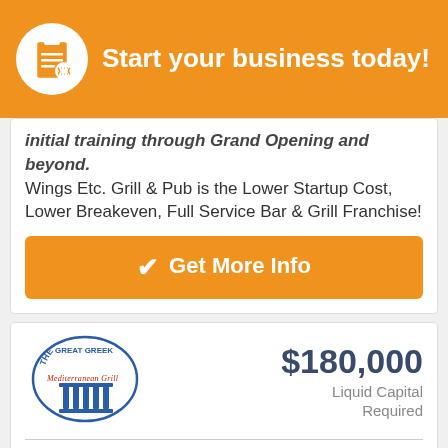Start your business today!
initial training through Grand Opening and beyond. Wings Etc. Grill & Pub is the Lower Startup Cost, Lower Breakeven, Full Service Bar & Grill Franchise!
Get More Info
[Figure (logo): The Great Greek Mediterranean Grill logo — circular design with blue columns and red script]
$180,000 Liquid Capital Required
The Great Greek Mediterranean Grill
The Great Greek Mediterranean Grill is a Fast-Casual franchise offering delicious, healthy, sought-after Greek food options with our authentic third generation recipes. We stand apart for our high quality